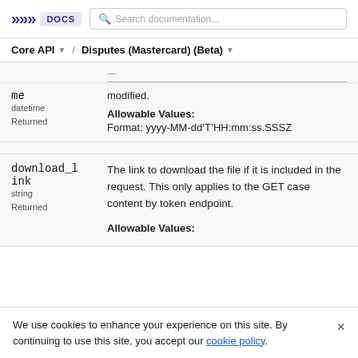>>> DOCS | Search documentation...
Core API / Disputes (Mastercard) (Beta)
me datetime Returned — modified. Allowable Values: Format: yyyy-MM-dd'T'HH:mm:ss.SSSZ
download_link string Returned — The link to download the file if it is included in the request. This only applies to the GET case content by token endpoint. Allowable Values:
We use cookies to enhance your experience on this site. By continuing to use this site, you accept our cookie policy.